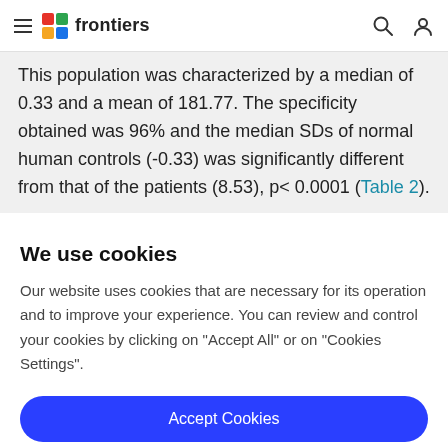frontiers
This population was characterized by a median of 0.33 and a mean of 181.77. The specificity obtained was 96% and the median SDs of normal human controls (-0.33) was significantly different from that of the patients (8.53), p< 0.0001 (Table 2).
We use cookies
Our website uses cookies that are necessary for its operation and to improve your experience. You can review and control your cookies by clicking on "Accept All" or on "Cookies Settings".
Accept Cookies
Cookies Settings